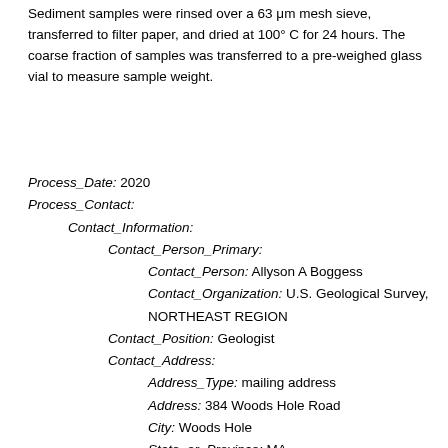Sediment samples were rinsed over a 63 μm mesh sieve, transferred to filter paper, and dried at 100° C for 24 hours. The coarse fraction of samples was transferred to a pre-weighed glass vial to measure sample weight.
Process_Date: 2020
Process_Contact:
  Contact_Information:
    Contact_Person_Primary:
      Contact_Person: Allyson A Boggess
      Contact_Organization: U.S. Geological Survey, NORTHEAST REGION
    Contact_Position: Geologist
    Contact_Address:
      Address_Type: mailing address
      Address: 384 Woods Hole Road
      City: Woods Hole
      State_or_Province: MA
      Postal_Code: 02543
      Country: US
    Contact_Voice_Telephone: 508-548-8700 x2341